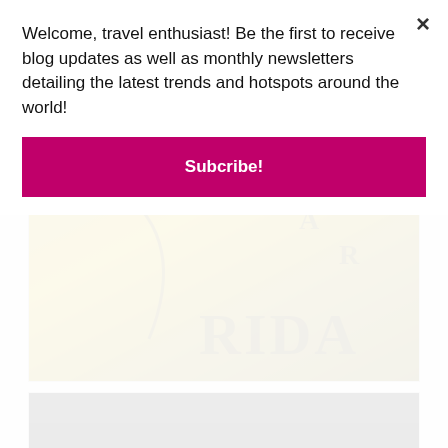Welcome, travel enthusiast! Be the first to receive blog updates as well as monthly newsletters detailing the latest trends and hotspots around the world!
[Figure (other): Subscribe button with magenta/pink background and white bold text reading 'Subcribe!']
[Figure (photo): Close-up photo of a golden/olive-colored embossed surface showing partial text letters 'RIDA' and 'A R' in dark serif font, with a curved line element. Appears to be a book cover or similar embossed object.]
[Figure (photo): Partially visible photo with very dark/black background, bottom portion of another image.]